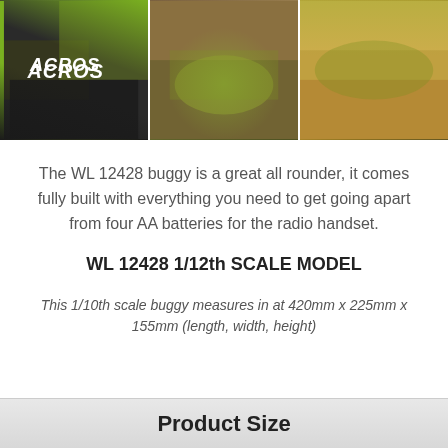[Figure (photo): Three photos of the WL 12428 RC buggy: left shows close-up of the buggy body with ACROS text, middle shows the buggy on dirt/rocky terrain, right shows the buggy on sandy terrain.]
The WL 12428 buggy is a great all rounder, it comes fully built with everything you need to get going apart from four AA batteries for the radio handset.
WL 12428 1/12th SCALE MODEL
This 1/10th scale buggy measures in at 420mm x 225mm x 155mm (length, width, height)
Product Size